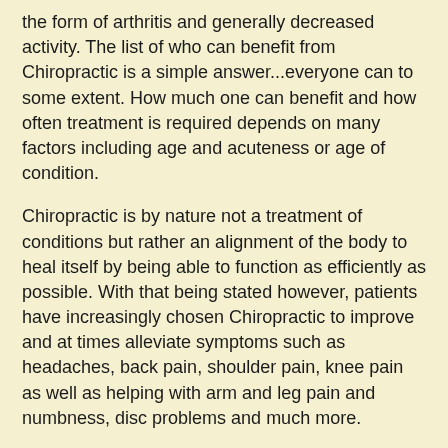the form of arthritis and generally decreased activity. The list of who can benefit from Chiropractic is a simple answer...everyone can to some extent. How much one can benefit and how often treatment is required depends on many factors including age and acuteness or age of condition.
Chiropractic is by nature not a treatment of conditions but rather an alignment of the body to heal itself by being able to function as efficiently as possible. With that being stated however, patients have increasingly chosen Chiropractic to improve and at times alleviate symptoms such as headaches, back pain, shoulder pain, knee pain as well as helping with arm and leg pain and numbness, disc problems and much more.
Most importantly Chiropractic should be considered as a resource in achieving and maintaining an optimal state of health and wellness. Chiropractic has become a leader in alternative medicine and natural healing. With much criticism by Western medicine and western model insurance companies, Chiropractic has had to prove its necessity